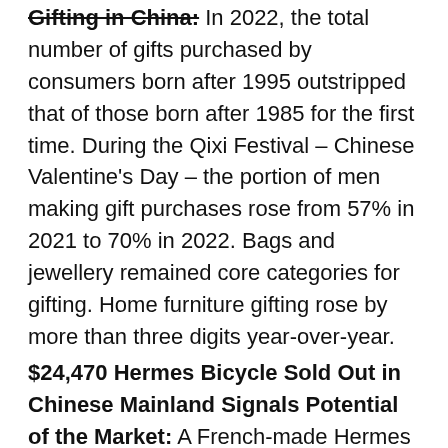Gifting in China: In 2022, the total number of gifts purchased by consumers born after 1995 outstripped that of those born after 1985 for the first time. During the Qixi Festival – Chinese Valentine's Day – the portion of men making gift purchases rose from 57% in 2021 to 70% in 2022. Bags and jewellery remained core categories for gifting. Home furniture gifting rose by more than three digits year-over-year.
$24,470 Hermes Bicycle Sold Out in Chinese Mainland Signals Potential of the Market: A French-made Hermes bicycle inspired by a Japanese-style portable bicycle, listed at ¥165,000 ($24K) has sold out from Hermes stores in China. Original stock numbers are unreported. Louis Vuitton, Chanel, Gucci and TOD's have also produced limited edition